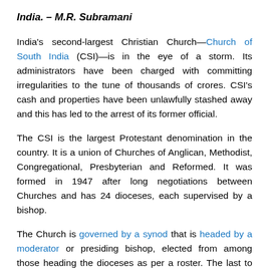India. – M.R. Subramani
India's second-largest Christian Church—Church of South India (CSI)—is in the eye of a storm. Its administrators have been charged with committing irregularities to the tune of thousands of crores. CSI's cash and properties have been unlawfully stashed away and this has led to the arrest of its former official.
The CSI is the largest Protestant denomination in the country. It is a union of Churches of Anglican, Methodist, Congregational, Presbyterian and Reformed. It was formed in 1947 after long negotiations between Churches and has 24 dioceses, each supervised by a bishop.
The Church is governed by a synod that is headed by a moderator or presiding bishop, elected from among those heading the dioceses as per a roster. The last to the